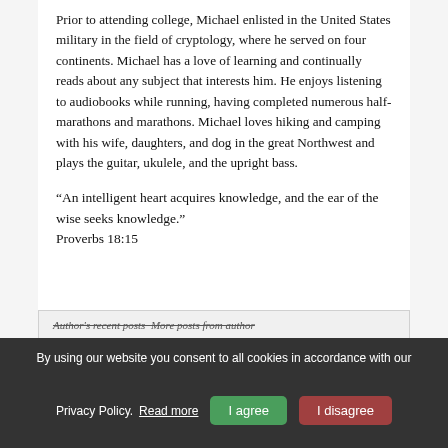Prior to attending college, Michael enlisted in the United States military in the field of cryptology, where he served on four continents. Michael has a love of learning and continually reads about any subject that interests him. He enjoys listening to audiobooks while running, having completed numerous half-marathons and marathons. Michael loves hiking and camping with his wife, daughters, and dog in the great Northwest and plays the guitar, ukulele, and the upright bass.
“An intelligent heart acquires knowledge, and the ear of the wise seeks knowledge.” Proverbs 18:15
Author's recent posts More posts from author
By using our website you consent to all cookies in accordance with our Privacy Policy. Read more I agree I disagree